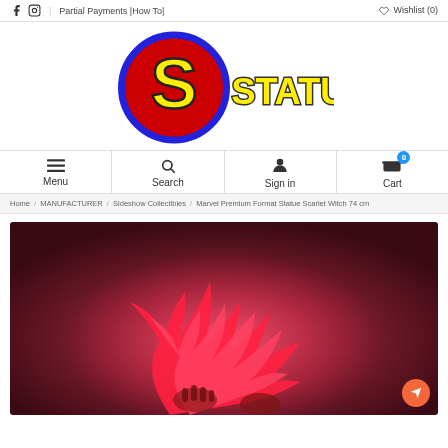f  instagram  |  Partial Payments |How To|  Wishlist (0)
[Figure (logo): Statuesque logo: large red circle with blue border, yellow S letter inside, STATUESQUE text in yellow with dark outline to the right]
Menu  Search  Sign in  Cart (0)
Home / MANUFACTURER / Sideshow Collectibles / Marvel Premium Format Statue Scarlet Witch 74 cm
[Figure (photo): Close-up photo of Marvel Scarlet Witch Premium Format Statue showing red glowing energy/flame effects around hands, dark pink/red background]